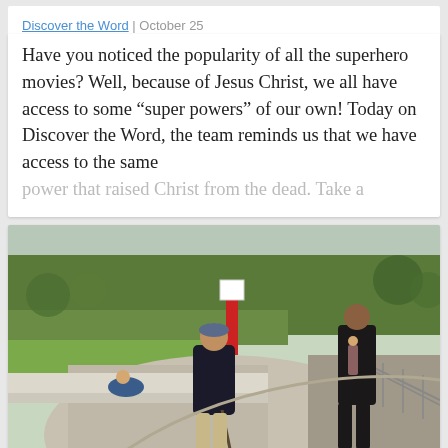Discover the Word | October 25
Have you noticed the popularity of all the superhero movies? Well, because of Jesus Christ, we all have access to some “super powers” of our own! Today on Discover the Word, the team reminds us that we have access to the same power that raised Christ from the dead. Take a
[Figure (photo): Two elderly men walking along a paved riverside promenade. One man in the center wears a dark jacket and uses a walking cane. Another man is to the right also in dark clothing. A third person is seated on a bench in the background to the left. There is green grass, hedges, and trees in the background, along with a red vertical sign post and metal railings on the right side.]